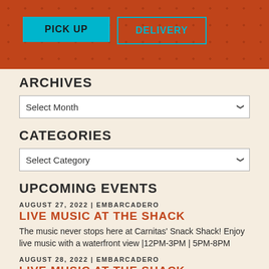PICK UP | DELIVERY
ARCHIVES
Select Month
CATEGORIES
Select Category
UPCOMING EVENTS
AUGUST 27, 2022 | EMBARCADERO
LIVE MUSIC AT THE SHACK
The music never stops here at Carnitas' Snack Shack! Enjoy live music with a waterfront view |12PM-3PM | 5PM-8PM
AUGUST 28, 2022 | EMBARCADERO
LIVE MUSIC AT THE SHACK
The music never stops here at Carnitas' Snack Shack! Enjoy